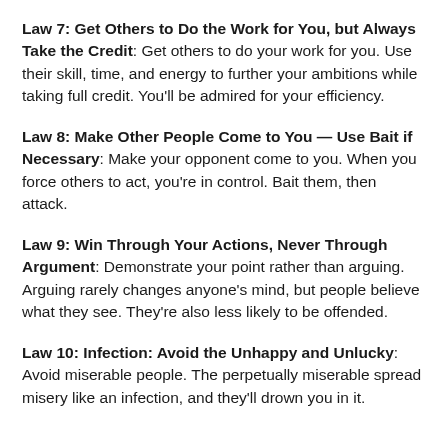Law 7: Get Others to Do the Work for You, but Always Take the Credit: Get others to do your work for you. Use their skill, time, and energy to further your ambitions while taking full credit. You'll be admired for your efficiency.
Law 8: Make Other People Come to You — Use Bait if Necessary: Make your opponent come to you. When you force others to act, you're in control. Bait them, then attack.
Law 9: Win Through Your Actions, Never Through Argument: Demonstrate your point rather than arguing. Arguing rarely changes anyone's mind, but people believe what they see. They're also less likely to be offended.
Law 10: Infection: Avoid the Unhappy and Unlucky: Avoid miserable people. The perpetually miserable spread misery like an infection, and they'll drown you in it.